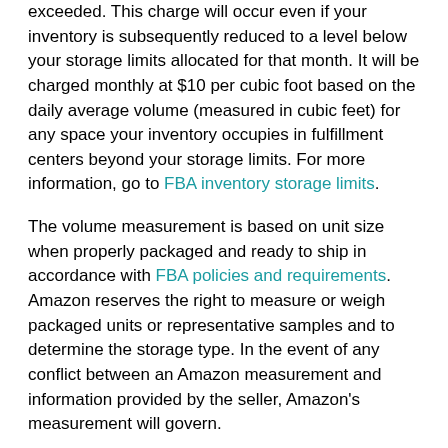exceeded. This charge will occur even if your inventory is subsequently reduced to a level below your storage limits allocated for that month. It will be charged monthly at $10 per cubic foot based on the daily average volume (measured in cubic feet) for any space your inventory occupies in fulfillment centers beyond your storage limits. For more information, go to FBA inventory storage limits.
The volume measurement is based on unit size when properly packaged and ready to ship in accordance with FBA policies and requirements. Amazon reserves the right to measure or weigh packaged units or representative samples and to determine the storage type. In the event of any conflict between an Amazon measurement and information provided by the seller, Amazon's measurement will govern.
Determining storage limit status
You can check the status of your inventory limit at any time by viewing the Storage volume on the Inventory...